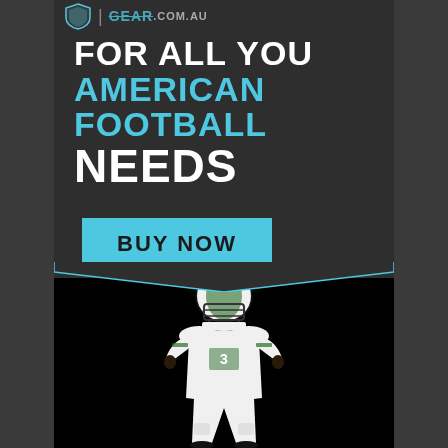[Figure (logo): Shield logo and GEAR.COM.AU text in top bar]
FOR ALL YOU AMERICAN FOOTBALL NEEDS
BUY NOW
[Figure (photo): American football player in white and green uniform with helmet, standing against black background]